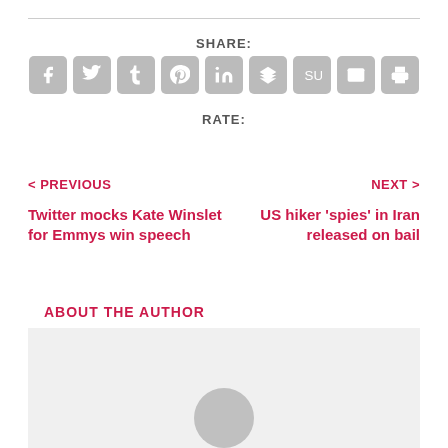SHARE:
[Figure (infographic): Row of 9 social sharing icons (Facebook, Twitter, Tumblr, Pinterest, LinkedIn, Buffer, StumbleUpon, Email, Print) as grey rounded squares with white symbols]
RATE:
< PREVIOUS
NEXT >
Twitter mocks Kate Winslet for Emmys win speech
US hiker 'spies' in Iran released on bail
ABOUT THE AUTHOR
[Figure (photo): Light grey author placeholder box with circular avatar silhouette at bottom center]